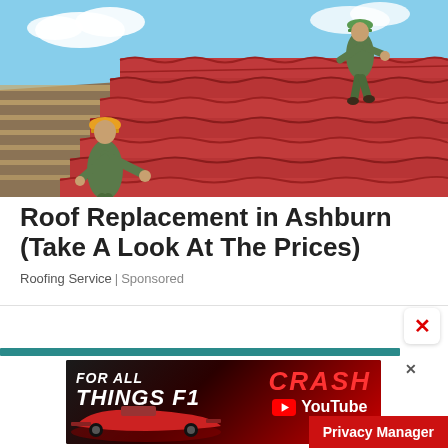[Figure (photo): Two workers in camouflage uniforms and hard hats installing red clay/ceramic roof tiles on a building. Blue sky with clouds visible in background.]
Roof Replacement in Ashburn (Take A Look At The Prices)
Roofing Service | Sponsored
[Figure (screenshot): Advertisement banner for Formula 1 YouTube channel crash content. Left side: dark red background with F1 race car and text 'FOR ALL THINGS F1'. Right side: 'CRASH' in red italic text with YouTube logo and 'YouTube' text. Blue close button top right.]
Privacy Manager